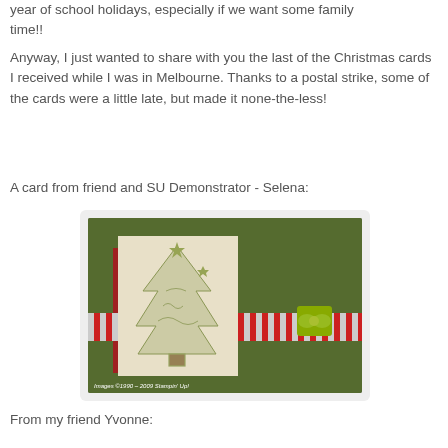year of school holidays, especially if we want some family time!!
Anyway, I just wanted to share with you the last of the Christmas cards I received while I was in Melbourne. Thanks to a postal strike, some of the cards were a little late, but made it none-the-less!
A card from friend and SU Demonstrator - Selena:
[Figure (photo): A handmade Christmas card with a dark green background, featuring a cream panel with a stamped Christmas tree design, red cardstock accent, striped ribbon band, and green bow. Watermark reads: Images ©1990 - 2009 Stampin' Up!]
From my friend Yvonne: